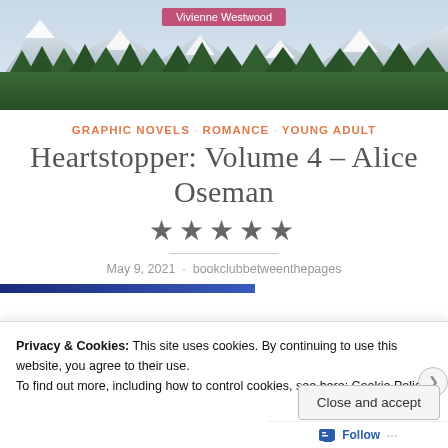[Figure (photo): Mountain landscape with snow-capped peaks and green forest treeline below]
Vivienne Westwood
GRAPHIC NOVELS · ROMANCE · YOUNG ADULT
Heartstopper: Volume 4 – Alice Oseman
★★★★★
May 9, 2021 · bookclubbetweenthepages
Privacy & Cookies: This site uses cookies. By continuing to use this website, you agree to their use.
To find out more, including how to control cookies, see here: Cookie Policy
Close and accept